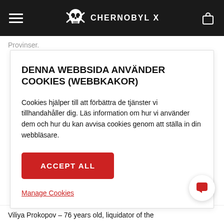[Figure (screenshot): Chernobyl X website navigation bar with hamburger menu, skull logo and CHERNOBYL X text, and bag icon on dark background]
Provinser.
DENNA WEBBSIDA ANVÄNDER COOKIES (WEBBKAKOR)
Cookies hjälper till att förbättra de tjänster vi tillhandahåller dig. Läs information om hur vi använder dem och hur du kan avvisa cookies genom att ställa in din webbläsare.
ACCEPT ALL
Manage Cookies
Viliya Prokopov – 76 years old, liquidator of the